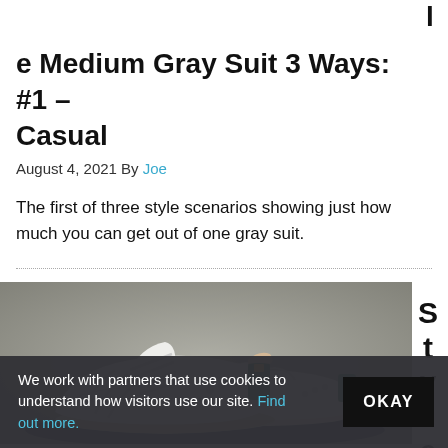l
e Medium Gray Suit 3 Ways: #1 – Casual
August 4, 2021 By Joe
The first of three style scenarios showing just how much you can get out of one gray suit.
[Figure (photo): White Adidas Stan Smith sneakers with green heel tab, placed on dark navy fabric on an asphalt surface]
Style
We work with partners that use cookies to understand how visitors use our site. Find out more.